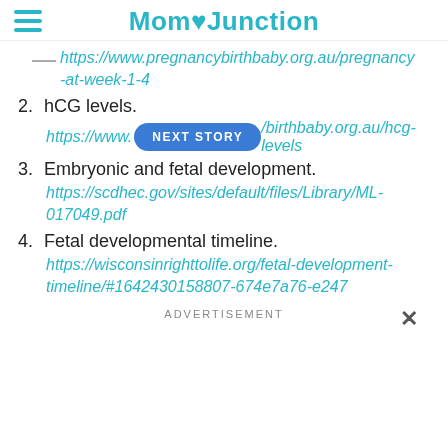MomJunction
https://www.pregnancybirthbaby.org.au/pregnancy-at-week-1-4
2. hCG levels.
https://www.pregnancybirthbaby.org.au/hcg-levels
3. Embryonic and fetal development.
https://scdhec.gov/sites/default/files/Library/ML-017049.pdf
4. Fetal developmental timeline.
https://wisconsinrighttolife.org/fetal-development-timeline/#1642430158807-674e7a76-e247
ADVERTISEMENT